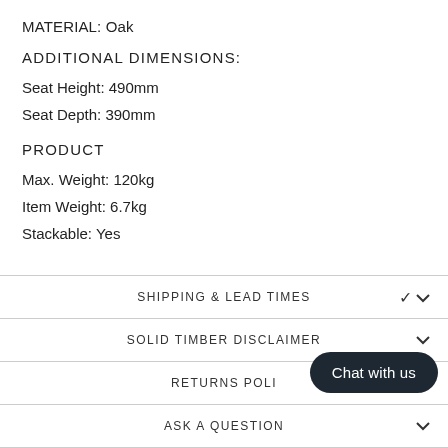MATERIAL: Oak
ADDITIONAL DIMENSIONS:
Seat Height: 490mm
Seat Depth: 390mm
PRODUCT
Max. Weight: 120kg
Item Weight: 6.7kg
Stackable: Yes
SHIPPING & LEAD TIMES
SOLID TIMBER DISCLAIMER
RETURNS POLI...
ASK A QUESTION